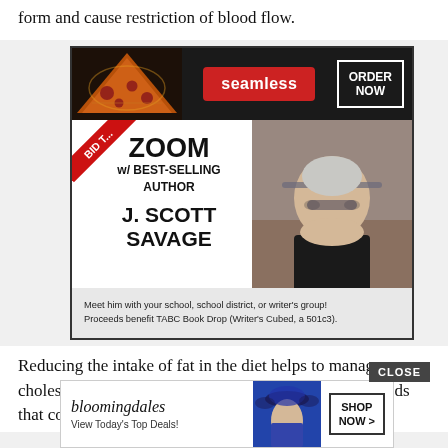form and cause restriction of blood flow.
[Figure (advertisement): Seamless food delivery ad banner showing pizza slices and 'ORDER NOW' button, combined with a Zoom with Best-Selling Author J. Scott Savage promotional ad. 'BID T...' ribbon tag in top-left corner. Footer text: 'Meet him with your school, school district, or writer's group! Proceeds benefit TABC Book Drop (Writer's Cubed, a 501c3).']
Reducing the intake of fat in the diet helps to manage cholesterol levels. In particular, it is helpful to limit foods that co...
[Figure (advertisement): Bloomingdales advertisement: 'View Today's Top Deals!' with a SHOP NOW > button and a model wearing a hat. A CLOSE button is overlaid above the ad.]